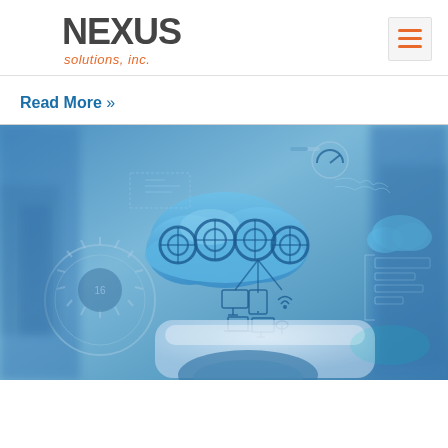[Figure (logo): Conexus Solutions, Inc. logo with orange circular C icon and gray NEXUS text]
[Figure (other): Hamburger menu icon with three orange horizontal lines on light gray background]
Read More »
[Figure (photo): Cloud computing concept image showing a blue cloud with connected circular tech icons above a tablet device held by a hand, with digital interface elements and blue tones throughout]